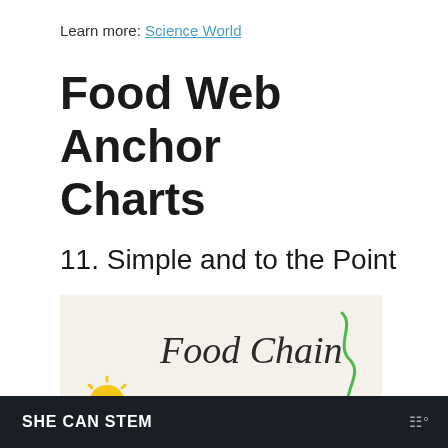Learn more: Science World
Food Web Anchor Charts
11. Simple and to the Point
[Figure (photo): A hand-drawn food chain anchor chart on white paper. Shows the text 'Food Chain' in cursive handwriting in dark ink with a green squiggly line/arrow. A yellow drawn sun is on the left side labeled 'SUN' in orange/red letters. There is a dark arrow pointing right, and the word 'PLANTS' is written in the upper right area. The chart is partially visible.]
SHE CAN STEM